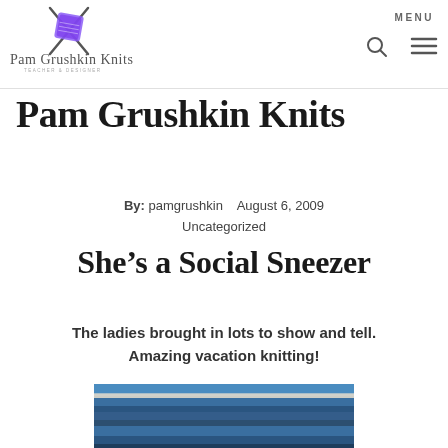[Figure (logo): Pam Grushkin Knits logo with purple knitting needles and yarn, with cursive text 'Pam Grushkin Knits' and subtitle 'Teacher & Designer']
Pam Grushkin Knits
By: pamgrushkin   August 6, 2009
Uncategorized
She’s a Social Sneezer
The ladies brought in lots to show and tell. Amazing vacation knitting!
[Figure (photo): Close-up photo of blue and grey knitted fabric with stripes]